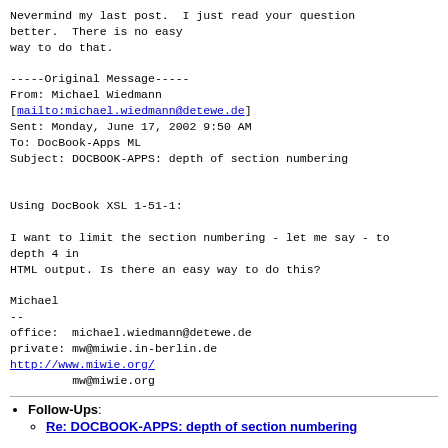Nevermind my last post.  I just read your question better.  There is no easy
way to do that.

-----Original Message-----
From: Michael Wiedmann
[mailto:michael.wiedmann@detewe.de]
Sent: Monday, June 17, 2002 9:50 AM
To: DocBook-Apps ML
Subject: DOCBOOK-APPS: depth of section numbering


Using DocBook XSL 1-51-1:

I want to limit the section numbering - let me say - to depth 4 in
HTML output. Is there an easy way to do this?

Michael
--
office:  michael.wiedmann@detewe.de
private: mw@miwie.in-berlin.de
http://www.miwie.org/
         mw@miwie.org
Follow-Ups: Re: DOCBOOK-APPS: depth of section numbering